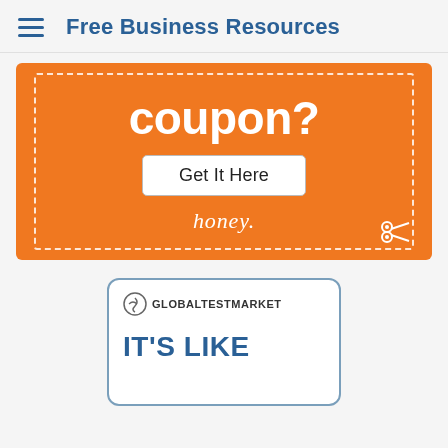Free Business Resources
[Figure (illustration): Orange coupon banner with dashed border, large text 'coupon?', a 'Get It Here' button, 'honey' script text, and a scissors icon at bottom right]
[Figure (illustration): GlobalTestMarket advertisement card with blue border, GTM logo, and 'IT'S LIKE' text in blue]